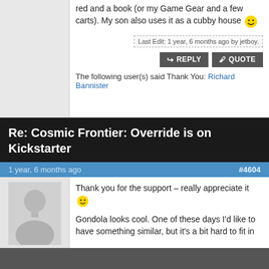red and a book (or my Game Gear and a few carts). My son also uses it as a cubby house 😄
Last Edit: 1 year, 6 months ago by jetboy.
REPLY  QUOTE
The following user(s) said Thank You: Richard Bannister
Re: Cosmic Frontier: Override is on Kickstarter
1 year, 6 months ago
#4604
[Figure (illustration): Default user avatar placeholder - silhouette of a person on grey background]
Thank you for the support – really appreciate it 🙂

Gondola looks cool. One of these days I'd like to have something similar, but it's a bit hard to fit in